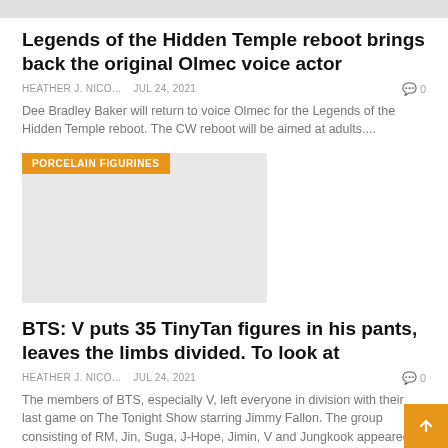[Figure (photo): Cropped top image strip, partially visible photos]
Legends of the Hidden Temple reboot brings back the original Olmec voice actor
HEATHER J. NICO...    Jul 24, 2021    0
Dee Bradley Baker will return to voice Olmec for the Legends of the Hidden Temple reboot. The CW reboot will be aimed at adults....
[Figure (photo): Image placeholder with PORCELAIN FIGURINES tag, light gray background]
BTS: V puts 35 TinyTan figures in his pants, leaves the limbs divided. To look at
HEATHER J. NICO...    Jul 24, 2021    0
The members of BTS, especially V, left everyone in division with their last game on The Tonight Show starring Jimmy Fallon. The group consisting of RM, Jin, Suga, J-Hope, Jimin, V and Jungkook appeared on the show and